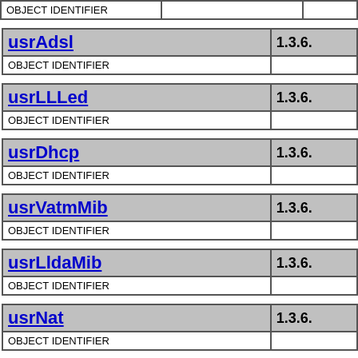| OBJECT IDENTIFIER |  |  |
| --- | --- | --- |
|  |
| usrAdsl | 1.3.6. |
| --- | --- |
| OBJECT IDENTIFIER |  |  |
| usrLLLed | 1.3.6. |
| --- | --- |
| OBJECT IDENTIFIER |  |  |
| usrDhcp | 1.3.6. |
| --- | --- |
| OBJECT IDENTIFIER |  |  |
| usrVatmMib | 1.3.6. |
| --- | --- |
| OBJECT IDENTIFIER |  |  |
| usrLldaMib | 1.3.6. |
| --- | --- |
| OBJECT IDENTIFIER |  |  |
| usrNat | 1.3.6. |
| --- | --- |
| OBJECT IDENTIFIER |  |  |